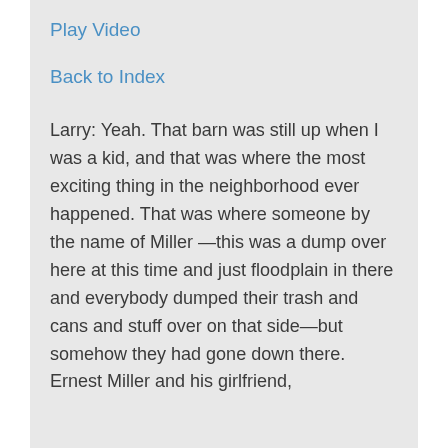Play Video
Back to Index
Larry: Yeah. That barn was still up when I was a kid, and that was where the most exciting thing in the neighborhood ever happened. That was where someone by the name of Miller—this was a dump over here at this time and just floodplain in there and everybody dumped their trash and cans and stuff over on that side—but somehow they had gone down there. Ernest Miller and his girlfriend,